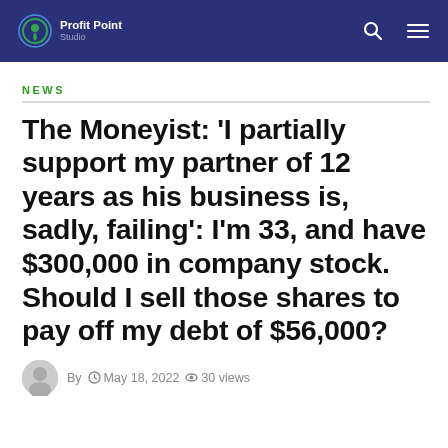Profit Point Studio
NEWS
The Moneyist: 'I partially support my partner of 12 years as his business is, sadly, failing': I'm 33, and have $300,000 in company stock. Should I sell those shares to pay off my debt of $56,000?
By  May 18, 2022  30 views